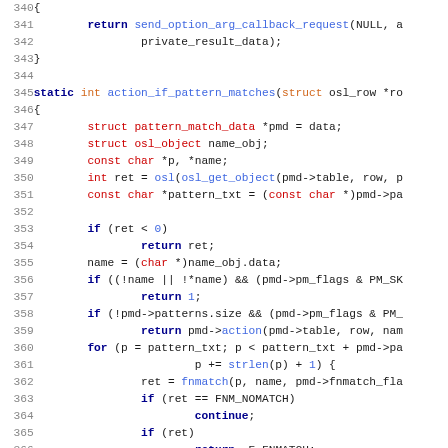[Figure (screenshot): Source code listing showing C code lines 340-371, including function action_if_pattern_matches with struct declarations, conditional logic, for loop, and fnmatch usage. Line numbers in gray on the left, keywords in dark blue bold, types in dark red/orange, function calls in blue.]